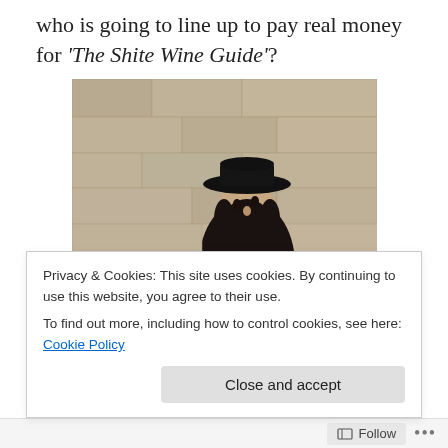who is going to line up to pay real money for 'The Shite Wine Guide'?
[Figure (photo): A bearded Jewish man in traditional black hat and suit, appearing to pray or chant at the Western Wall, holding papers]
Kassel chanting from 'The Shite Wine Guide'
(On the off chance that you are wondering, my nom de
Privacy & Cookies: This site uses cookies. By continuing to use this website, you agree to their use.
To find out more, including how to control cookies, see here: Cookie Policy
Follow